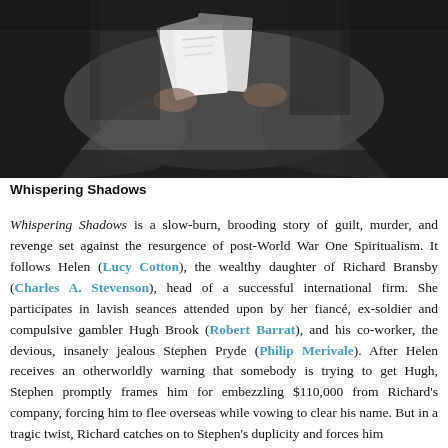[Figure (photo): Black and white photograph showing people's hands exchanging or handling documents/papers, likely a historical scene related to the film Whispering Shadows.]
Whispering Shadows
Whispering Shadows is a slow-burn, brooding story of guilt, murder, and revenge set against the resurgence of post-World War One Spiritualism. It follows Helen (Lucy Cotton), the wealthy daughter of Richard Bransby (Charles A. Stevenson), head of a successful international firm. She participates in lavish seances attended upon by her fiancé, ex-soldier and compulsive gambler Hugh Brook (Robert Barrat), and his co-worker, the devious, insanely jealous Stephen Pryde (Philip Merivale). After Helen receives an otherworldly warning that somebody is trying to get Hugh, Stephen promptly frames him for embezzling $110,000 from Richard's company, forcing him to flee overseas while vowing to clear his name. But in a tragic twist, Richard catches on to Stephen's duplicity and forces him